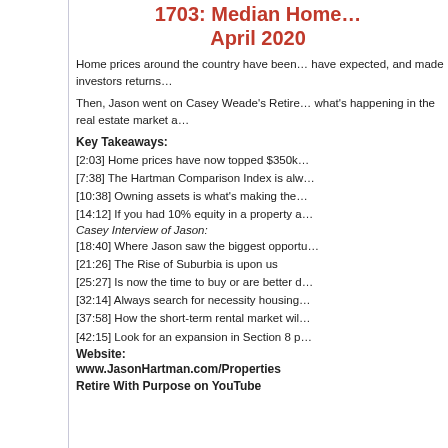1703: Median Home… April 2020
Home prices around the country have been… have expected, and made investors returns…
Then, Jason went on Casey Weade's Retire… what's happening in the real estate market a…
Key Takeaways:
[2:03] Home prices have now topped $350k…
[7:38] The Hartman Comparison Index is alw…
[10:38] Owning assets is what's making the…
[14:12] If you had 10% equity in a property a…
Casey Interview of Jason:
[18:40] Where Jason saw the biggest opportu…
[21:26] The Rise of Suburbia is upon us
[25:27] Is now the time to buy or are better d…
[32:14] Always search for necessity housing…
[37:58] How the short-term rental market wil…
[42:15] Look for an expansion in Section 8 p…
Website:
www.JasonHartman.com/Properties
Retire With Purpose on YouTube